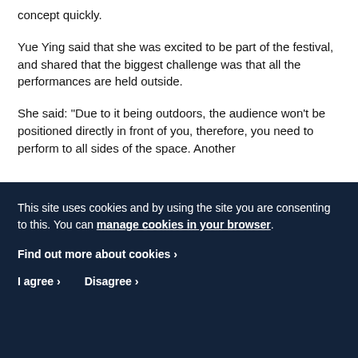concept quickly.
Yue Ying said that she was excited to be part of the festival, and shared that the biggest challenge was that all the performances are held outside.
She said: "Due to it being outdoors, the audience won't be positioned directly in front of you, therefore, you need to perform to all sides of the space. Another
This site uses cookies and by using the site you are consenting to this. You can manage cookies in your browser.
Find out more about cookies ›
I agree ›   Disagree ›